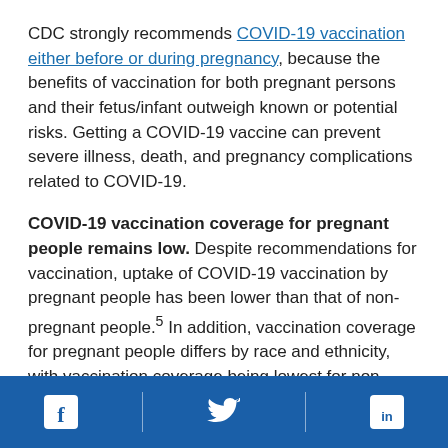CDC strongly recommends COVID-19 vaccination either before or during pregnancy, because the benefits of vaccination for both pregnant persons and their fetus/infant outweigh known or potential risks. Getting a COVID-19 vaccine can prevent severe illness, death, and pregnancy complications related to COVID-19.
COVID-19 vaccination coverage for pregnant people remains low. Despite recommendations for vaccination, uptake of COVID-19 vaccination by pregnant people has been lower than that of non-pregnant people.5 In addition, vaccination coverage for pregnant people differs by race and ethnicity, with vaccination coverage being lowest for non-Hispanic Black pregnant people (15.6%) as of September 18,
[Figure (other): Social media footer bar with Facebook, Twitter, and LinkedIn icons on a dark blue background]